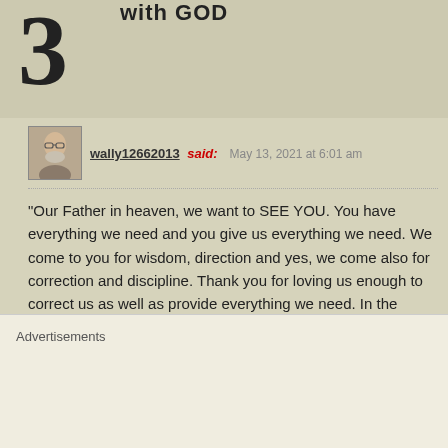with GOD
3
wally12662013 said: May 13, 2021 at 6:01 am
“Our Father in heaven, we want to SEE YOU. You have everything we need and you give us everything we need. We come to you for wisdom, direction and yes, we come also for correction and discipline. Thank you for loving us enough to correct us as well as provide everything we need. In the powerful, wonderful name of Your Son, Jesus, we pray and rejoice that You have already answered our prayers.” Amen
REPLY
Vincent S Artale Jr said: May 13, 2021 at 6:38 am
Advertisements